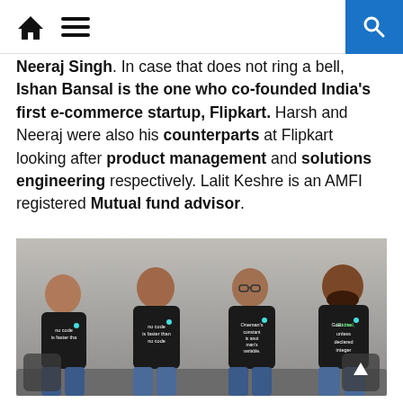Home | Menu | Search
Neeraj Singh. In case that does not ring a bell, Ishan Bansal is the one who co-founded India's first e-commerce startup, Flipkart. Harsh and Neeraj were also his counterparts at Flipkart looking after product management and solutions engineering respectively. Lalit Keshre is an AMFI registered Mutual fund advisor.
[Figure (photo): Four men sitting on a couch wearing black t-shirts with programming-related quotes. Left to right: 'no code is faster than no code', 'no code is faster than no code', 'Oneman's constant is another man's variable.', 'God is real, unless declared integer'. Dark mode and scroll-up buttons visible at the bottom corners.]